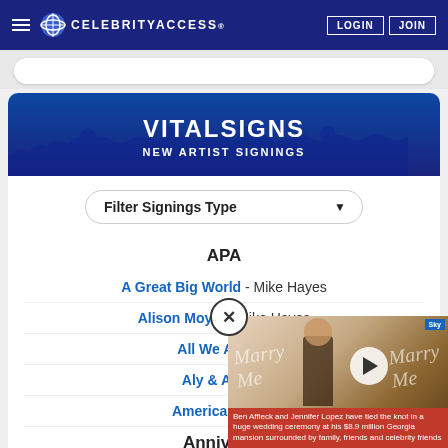CELEBRITYACCESS. LOGIN JOIN
[Figure (screenshot): CelebrityAccess website screenshot showing VITALSIGNS NEW ARTIST SIGNINGS section with filter dropdown and list of APA signings]
VITALSIGNS
NEW ARTIST SIGNINGS
Filter Signings Type
APA
A Great Big World - Mike Hayes
Alison Moyet - Mike Hayes
All We Are - M[ike Hayes]
Aly & AJ - Mi[ke Hayes]
American Teeth[- Mike Hayes]
Anniversa[ry]
Ben Affleck and Jennifer Lopez have tied the knot in a huge wedding ceremony at his $8.9 million Georgia mansion surrounded by family, friends and celebrity friends